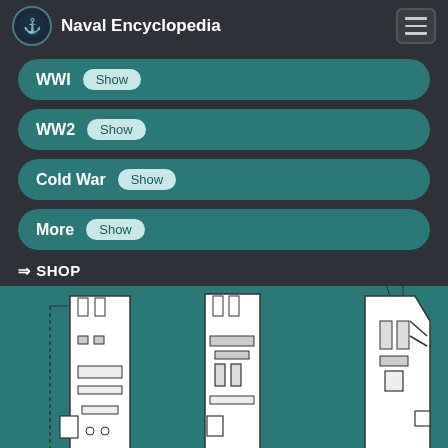Naval Encyclopedia
WWI Show
WW2 Show
Cold War Show
More Show
⇒ SHOP
[Figure (illustration): Technical line drawings/schematics of naval warships shown from a top-down or side view, three ships partially visible on a teal background]